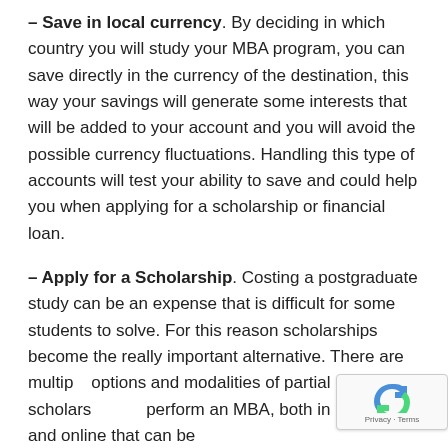– Save in local currency. By deciding in which country you will study your MBA program, you can save directly in the currency of the destination, this way your savings will generate some interests that will be added to your account and you will avoid the possible currency fluctuations. Handling this type of accounts will test your ability to save and could help you when applying for a scholarship or financial loan.
– Apply for a Scholarship. Costing a postgraduate study can be an expense that is difficult for some students to solve. For this reason scholarships become the really important alternative. There are multiple options and modalities of partial or total scholarships perform an MBA, both in person and online that can be